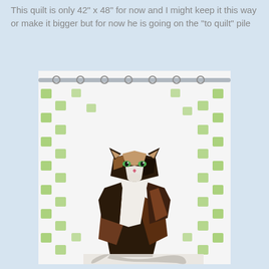This quilt is only 42" x 48" for now and I might keep it this way or make it bigger but for now he is going on the "to quilt" pile
[Figure (photo): A quilted cat hanging against a white shower curtain with green floral/paw print pattern. The quilt depicts a calico/tuxedo cat made of geometric fabric patches in black, white, brown, and tan, sitting upright with green eyes and a pink nose. The cat quilt is hung on a curtain rod.]